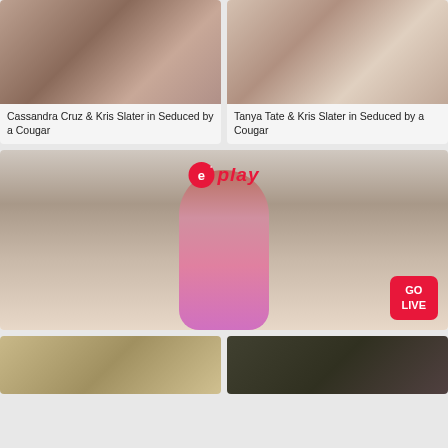[Figure (photo): Adult content thumbnail - Cassandra Cruz & Kris Slater in Seduced by a Cougar]
Cassandra Cruz & Kris Slater in Seduced by a Cougar
[Figure (photo): Adult content thumbnail - Tanya Tate & Kris Slater in Seduced by a Cougar]
Tanya Tate & Kris Slater in Seduced by a Cougar
[Figure (photo): eplay live streaming promotional image with woman in pink outfit. GO LIVE button shown.]
[Figure (photo): Partial thumbnail bottom left]
[Figure (photo): Partial thumbnail bottom right]